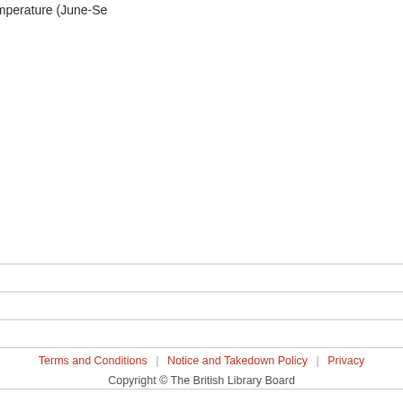following site factors were assessed; elevation, geomorphology, degree of wind-climate, mean summer temperature (June-September), made by extrapolation of forestry Commission "tatter" yr -1 per 100 m increase in elevation due to the effects of altitude, correlated with elevation at the individual sites, but the pattern differs in inland and southern areas than in coastal and northern areas, strikingly similar to the distributions of growing season, demonstrated that GYC was well correlated with extrapolated factors, accounting for up to 78 per cent of the variation in GYC, topex, soil type and crop age. Productivity was highest with shelter. Differences in soil type only accounted for a small amount, correlated with crop age, probably as a result of improvement, for 78-86 per cent of the variation in GYC and were a good for predicting GYC for a single site (acquisition) was calculated from survey. The information presented could easily be adapted for forestry.
| Field | Value |
| --- | --- |
| Supervisor: | Malcolm, D. C. ; Low, A. J. |
| Qualification Name: | Thesis (Ph.D.) |
| EThOS ID: | uk.bl.ethos.561613 |
| Share: | Share |
Terms and Conditions | Notice and Takedown Policy | Privacy
Copyright © The British Library Board